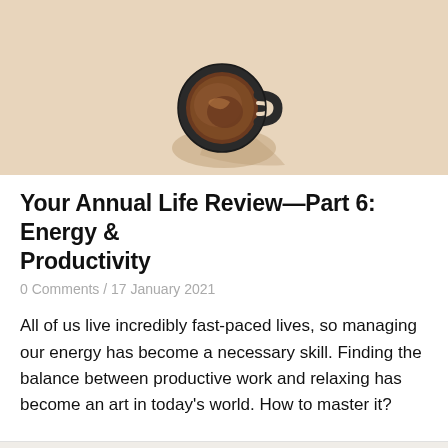[Figure (photo): Top-down view of a dark coffee mug with coffee on a beige/cream background, casting a shadow]
Your Annual Life Review—Part 6: Energy & Productivity
0 Comments / 17 January 2021
All of us live incredibly fast-paced lives, so managing our energy has become a necessary skill. Finding the balance between productive work and relaxing has become an art in today's world. How to master it?
[Figure (photo): Partial view of another image below, appears to show a light/white surface]